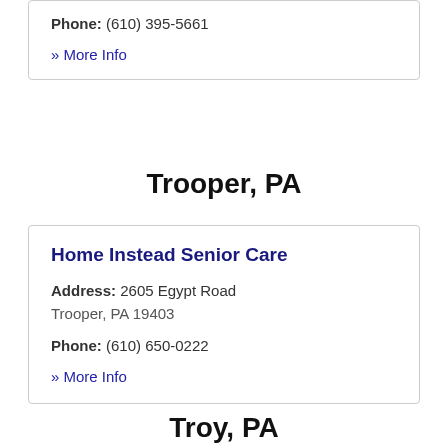Phone: (610) 395-5661
» More Info
Trooper, PA
Home Instead Senior Care
Address: 2605 Egypt Road
Trooper, PA 19403
Phone: (610) 650-0222
» More Info
Troy, PA